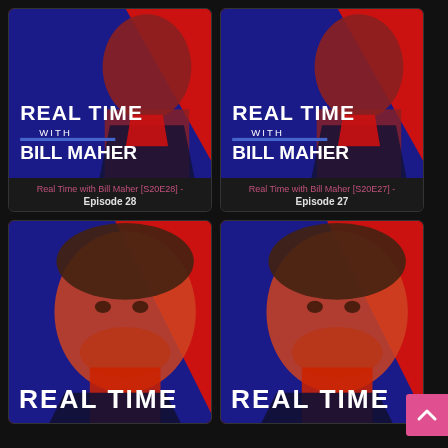[Figure (screenshot): Real Time with Bill Maher show poster - top left card for Episode 28]
Real Time with Bill Maher [S20E28] - Episode 28
[Figure (screenshot): Real Time with Bill Maher show poster - top right card for Episode 27]
Real Time with Bill Maher [S20E27] - Episode 27
[Figure (screenshot): Real Time with Bill Maher show poster - bottom left card, partially visible]
[Figure (screenshot): Real Time with Bill Maher show poster - bottom right card, partially visible]